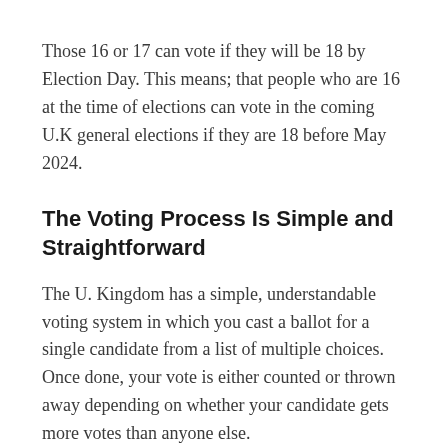Those 16 or 17 can vote if they will be 18 by Election Day. This means; that people who are 16 at the time of elections can vote in the coming U.K general elections if they are 18 before May 2024.
The Voting Process Is Simple and Straightforward
The U. Kingdom has a simple, understandable voting system in which you cast a ballot for a single candidate from a list of multiple choices. Once done, your vote is either counted or thrown away depending on whether your candidate gets more votes than anyone else.